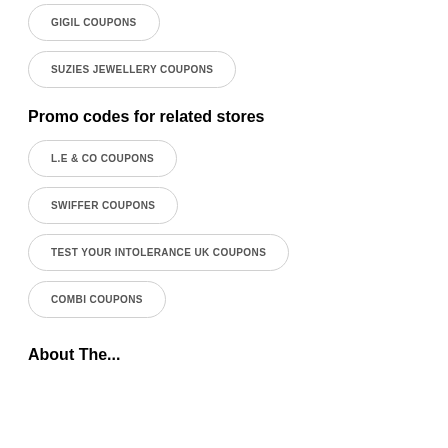GIGIL COUPONS
SUZIES JEWELLERY COUPONS
Promo codes for related stores
L.E & CO COUPONS
SWIFFER COUPONS
TEST YOUR INTOLERANCE UK COUPONS
COMBI COUPONS
About The...